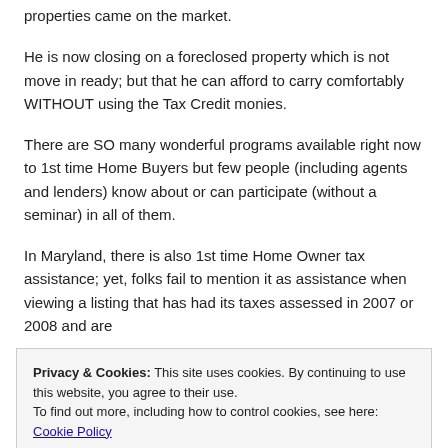properties came on the market.
He is now closing on a foreclosed property which is not move in ready; but that he can afford to carry comfortably WITHOUT using the Tax Credit monies.
There are SO many wonderful programs available right now to 1st time Home Buyers but few people (including agents and lenders) know about or can participate (without a seminar) in all of them.
In Maryland, there is also 1st time Home Owner tax assistance; yet, folks fail to mention it as assistance when viewing a listing that has had its taxes assessed in 2007 or 2008 and are
Privacy & Cookies: This site uses cookies. By continuing to use this website, you agree to their use.
To find out more, including how to control cookies, see here: Cookie Policy
tax credit expired that bidding wars became the 'norm' versus